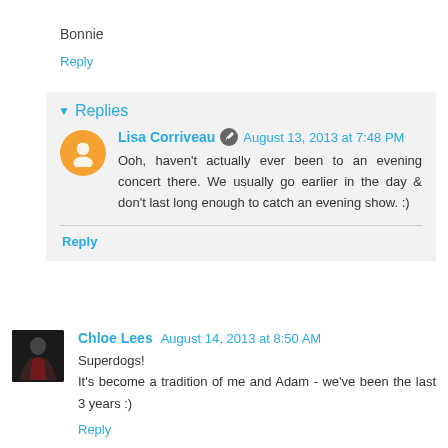Bonnie
Reply
▾ Replies
Lisa Corriveau  August 13, 2013 at 7:48 PM
Ooh, haven't actually ever been to an evening concert there. We usually go earlier in the day & don't last long enough to catch an evening show. :)
Reply
Chloe Lees  August 14, 2013 at 8:50 AM
Superdogs!
It's become a tradition of me and Adam - we've been the last 3 years :)
Reply